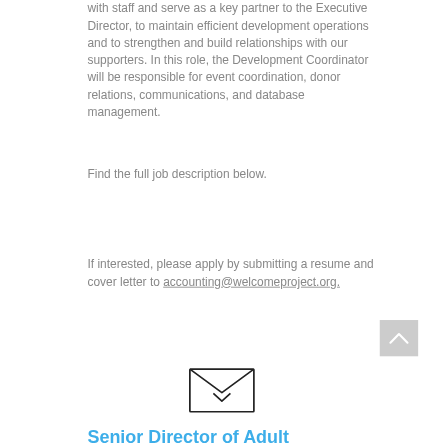with staff and serve as a key partner to the Executive Director, to maintain efficient development operations and to strengthen and build relationships with our supporters. In this role, the Development Coordinator will be responsible for event coordination, donor relations, communications, and database management.
Find the full job description below.
If interested, please apply by submitting a resume and cover letter to accounting@welcomeproject.org.
[Figure (illustration): Hand-drawn envelope icon with a heart/check mark on the flap]
Senior Director of Adult Education...